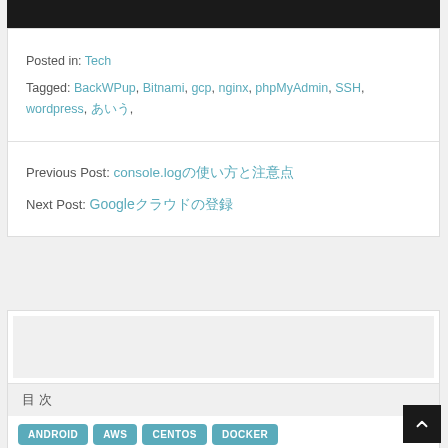[Figure (photo): Dark/black banner image at top of page]
Posted in: Tech
Tagged: BackWPup, Bitnami, gcp, nginx, phpMyAdmin, SSH, wordpress, [Japanese text], [Japanese text]
Previous Post: console.log[Japanese characters for article title]
Next Post: Google[Japanese characters for article title]
[Figure (other): Light gray sidebar/widget box area]
目 次
ANDROID  AWS  CENTOS  DOCKER